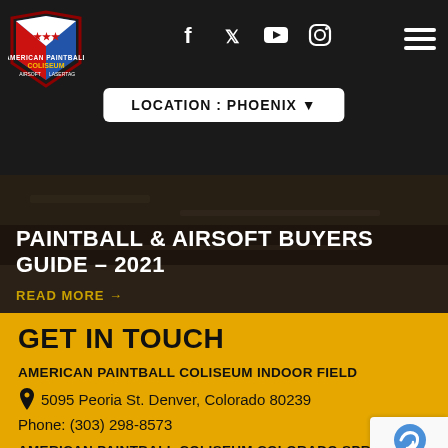[Figure (logo): American Paintball Coliseum shield logo with red/blue/white design]
[Figure (infographic): Social media icons: Facebook, Twitter, YouTube, Instagram in white on dark background]
[Figure (other): Hamburger menu icon (three horizontal white lines) on dark background]
LOCATION : PHOENIX ▼
PAINTBALL & AIRSOFT BUYERS GUIDE – 2021
READ MORE →
GET IN TOUCH
AMERICAN PAINTBALL COLISEUM INDOOR FIELD
5095 Peoria St. Denver, Colorado 80239
Phone: (303) 298-8573
AMERICAN PAINTBALL COLISEUM COLORADO SPRINGS INDOOR